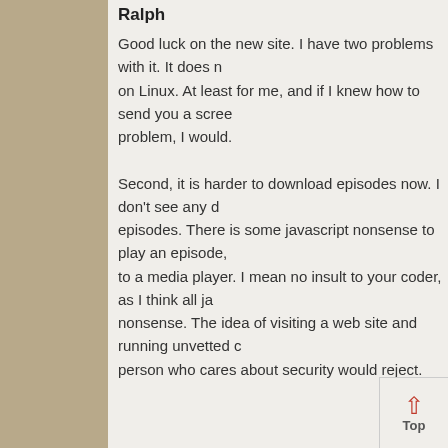Ralph
Good luck on the new site. I have two problems with it. It does not work on Linux. At least for me, and if I knew how to send you a screenshot of the problem, I would.

Second, it is harder to download episodes now. I don't see any direct link to episodes. There is some javascript nonsense to play an episode, but no simple link to a media player. I mean no insult to your coder, as I think all javascript is nonsense. The idea of visiting a web site and running unvetted code is something a person who cares about security would reject.
Reply
November 28, 2016 at 6:19 am
David Crowther
Hi Ralph. if you can email a screenshot to david54031@gmai... The downloading direct link, if I understand correct... be else and we will fix – I think you want to download direct fro...